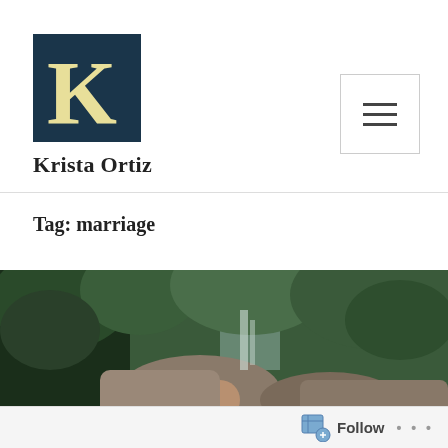[Figure (logo): Dark blue/teal square logo with large cream-colored letter K in serif font]
Krista Ortiz
Tag: marriage
[Figure (photo): Outdoor photo of a man partially visible among rocks and green trees with a waterfall in the background]
Follow ...